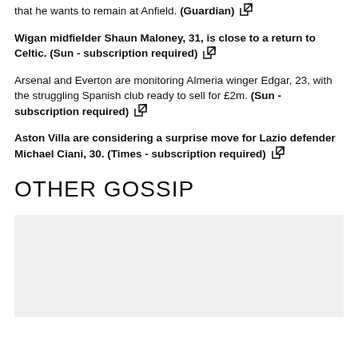that he wants to remain at Anfield. (Guardian) [link]
Wigan midfielder Shaun Maloney, 31, is close to a return to Celtic. (Sun - subscription required) [link]
Arsenal and Everton are monitoring Almeria winger Edgar, 23, with the struggling Spanish club ready to sell for £2m. (Sun - subscription required) [link]
Aston Villa are considering a surprise move for Lazio defender Michael Ciani, 30. (Times - subscription required) [link]
OTHER GOSSIP
[Figure (other): Grey placeholder image box]